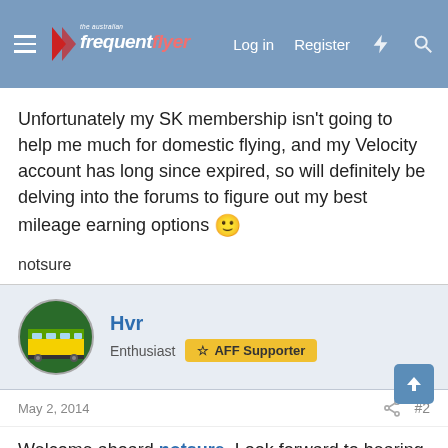the australian frequent flyer — Log in Register
Unfortunately my SK membership isn't going to help me much for domestic flying, and my Velocity account has long since expired, so will definitely be delving into the forums to figure out my best mileage earning options 🙂

notsure
Hvr
Enthusiast AFF Supporter
May 2, 2014 #2
Welcome aboard notsure. Look forward to hearing more about your move to Australia. Hope your cats can cope with the weather here.
We also have a thread about cats you may be interested in: http://www.australianfrequentflyer...sion-cats-moggies-feline-